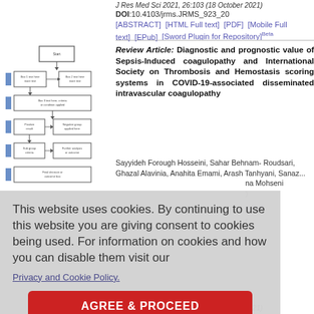J Res Med Sci 2021, 26:103 (18 October 2021)
DOI:10.4103/jrms.JRMS_923_20
[ABSTRACT]  [HTML Full text]  [PDF]  [Mobile Full text]  [EPub]  [Sword Plugin for Repository]Beta
[Figure (flowchart): Flowchart diagram with boxes and arrows showing a clinical decision or diagnostic algorithm]
Review Article: Diagnostic and prognostic value of Sepsis-Induced coagulopathy and International Society on Thrombosis and Hemostasis scoring systems in COVID-19-associated disseminated intravascular coagulopathy
Sayyideh Forough Hosseini, Sahar Behnam- Roudsari, Ghazal Alavinia, Anahita Emami, Arash Tanhyani, Sanaz... na Mohseni
This website uses cookies. By continuing to use this website you are giving consent to cookies being used. For information on cookies and how you can disable them visit our
Privacy and Cookie Policy.
AGREE & PROCEED
J Res Med Sci 2021, 26:101 (18 October 2021)